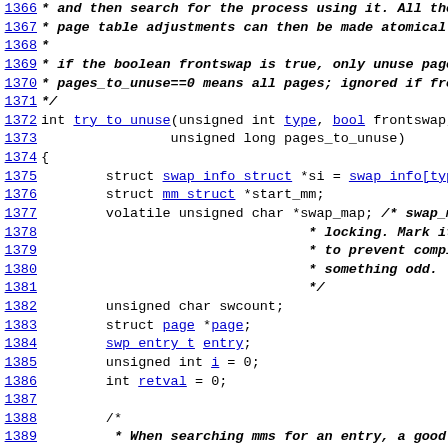Code listing lines 1366-1390, C source code for try_to_unuse function with comments and variable declarations